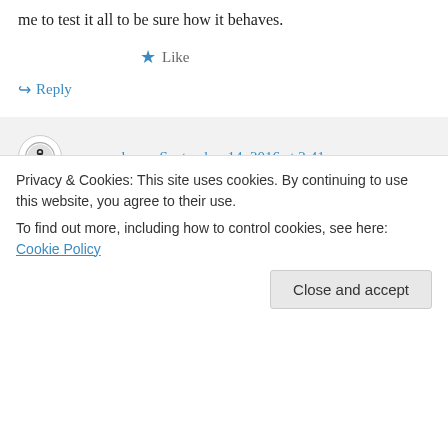me to test it all to be sure how it behaves.
★ Like
↪ Reply
moozzyk on September 14, 2016 at 2:41 pm
It's up to the backing cache mechanism to handle expired entries. The sample MemoryCache uses the aggressive policy where cache entries will be considered
Privacy & Cookies: This site uses cookies. By continuing to use this website, you agree to their use.
To find out more, including how to control cookies, see here: Cookie Policy
Close and accept